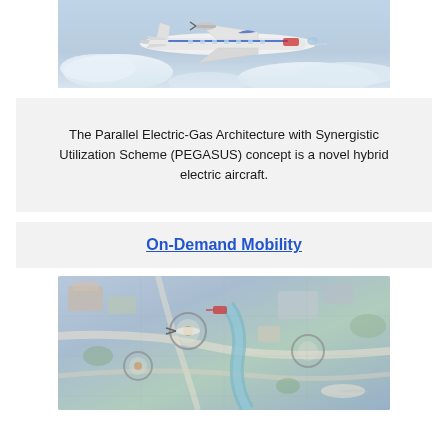[Figure (photo): A white twin-turboprop regional aircraft flying above clouds, with NASA branding and blue wing markings, representing the PEGASUS hybrid electric aircraft concept.]
The Parallel Electric-Gas Architecture with Synergistic Utilization Scheme (PEGASUS) concept is a novel hybrid electric aircraft.
On-Demand Mobility
[Figure (illustration): An aerial/bird's-eye view illustration of an urban on-demand mobility concept showing an airport or vertiport layout with various aircraft, vehicles, and infrastructure elements in a colorful artistic rendering.]